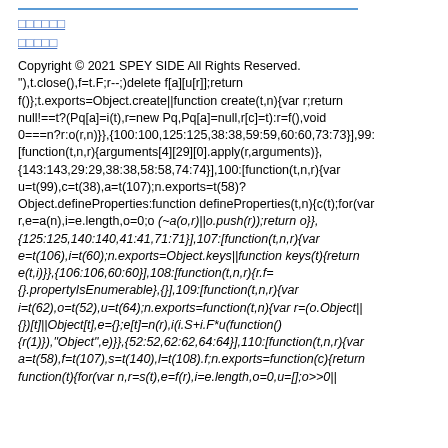□□□□□□
□□□□□
Copyright © 2021 SPEY SIDE All Rights Reserved. "),t.close(),f=t.F;r--;)delete f[a][u[r]];return f()};t.exports=Object.create||function create(t,n){var r;return null!==t?(Pq[a]=i(t),r=new Pq,Pq[a]=null,r[c]=t):r=f(),void 0===n?r:o(r,n)}},{100:100,125:125,38:38,59:59,60:60,73:73}],99:[function(t,n,r){arguments[4][29][0].apply(r,arguments)},{143:143,29:29,38:38,58:58,74:74}],100:[function(t,n,r){var u=t(99),c=t(38),a=t(107);n.exports=t(58)?Object.defineProperties:function defineProperties(t,n){c(t);for(var r,e=a(n),i=e.length,o=0;oi;)u(e,r=n[i++])&&(~a(o,r)||o.push(r));return o}},{125:125,140:140,41:41,71:71}],107:[function(t,n,r){var e=t(106),i=t(60);n.exports=Object.keys||function keys(t){return e(t,i)}},{106:106,60:60}],108:[function(t,n,r){r.f={}.propertyIsEnumerable},{},109:[function(t,n,r){var i=t(62),o=t(52),u=t(64);n.exports=function(t,n){var r=(o.Object||{})[t]||Object[t],e={};e[t]=n(r),i(i.S+i.F*u(function(){r(1)}),"Object",e)}},{52:52,62:62,64:64}],110:[function(t,n,r){var a=t(58),f=t(107),s=t(140),l=t(108).f;n.exports=function(c){return function(t){for(var n,r=s(t),e=f(r),i=e.length,o=0,u=[];o>>0||